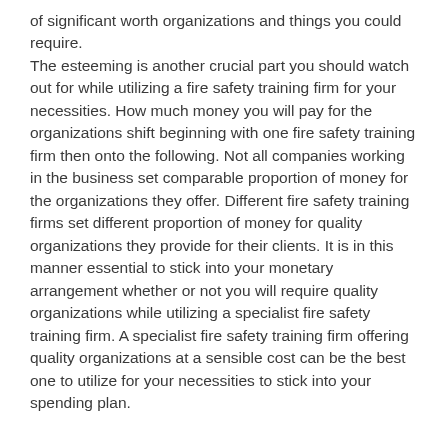of significant worth organizations and things you could require. The esteeming is another crucial part you should watch out for while utilizing a fire safety training firm for your necessities. How much money you will pay for the organizations shift beginning with one fire safety training firm then onto the following. Not all companies working in the business set comparable proportion of money for the organizations they offer. Different fire safety training firms set different proportion of money for quality organizations they provide for their clients. It is in this manner essential to stick into your monetary arrangement whether or not you will require quality organizations while utilizing a specialist fire safety training firm. A specialist fire safety training firm offering quality organizations at a sensible cost can be the best one to utilize for your necessities to stick into your spending plan.